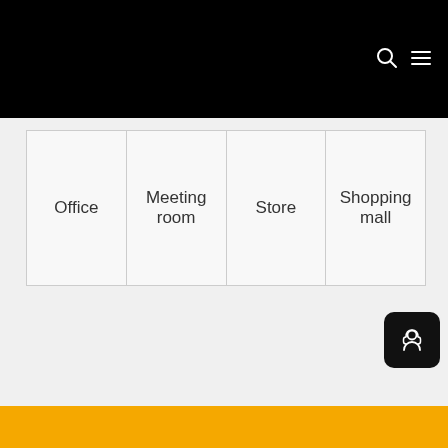[Figure (screenshot): Black navigation bar at top with search icon and hamburger menu icon on the right]
| Office | Meeting room | Store | Shopping mall |
[Figure (other): Dark rounded square button with headset and person support icon]
[Figure (other): Orange/amber color bar at the bottom of the page]